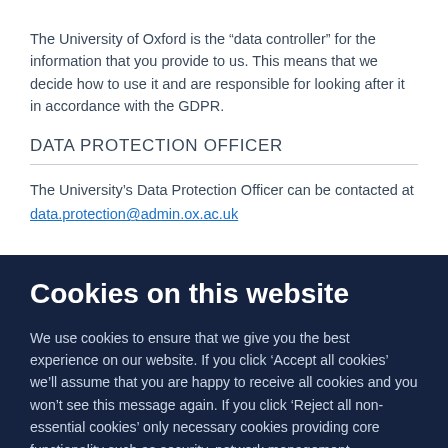The University of Oxford is the “data controller” for the information that you provide to us. This means that we decide how to use it and are responsible for looking after it in accordance with the GDPR.
DATA PROTECTION OFFICER
The University’s Data Protection Officer can be contacted at data.protection@admin.ox.ac.uk
Cookies on this website
We use cookies to ensure that we give you the best experience on our website. If you click ‘Accept all cookies’ we’ll assume that you are happy to receive all cookies and you won’t see this message again. If you click ‘Reject all non-essential cookies’ only necessary cookies providing core functionality such as security, network management,